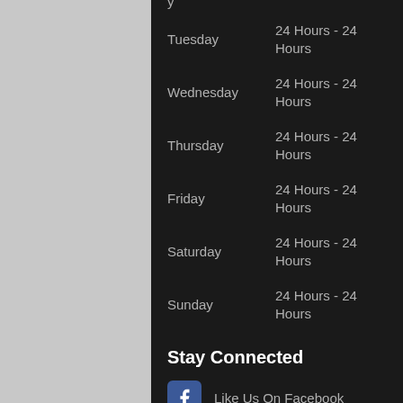Tuesday   24 Hours - 24 Hours
Wednesday   24 Hours - 24 Hours
Thursday   24 Hours - 24 Hours
Friday   24 Hours - 24 Hours
Saturday   24 Hours - 24 Hours
Sunday   24 Hours - 24 Hours
Stay Connected
Like Us On Facebook
Follow Us On Twitter
Find Us on Linkedin
Our Youtube Channel
Our Pinterest Boards